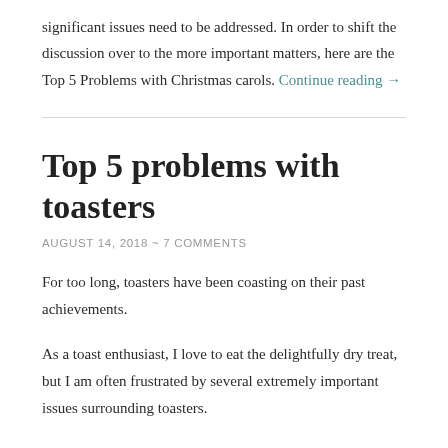significant issues need to be addressed. In order to shift the discussion over to the more important matters, here are the Top 5 Problems with Christmas carols. Continue reading →
Top 5 problems with toasters
AUGUST 14, 2018 ~ 7 COMMENTS
For too long, toasters have been coasting on their past achievements.
As a toast enthusiast, I love to eat the delightfully dry treat, but I am often frustrated by several extremely important issues surrounding toasters.